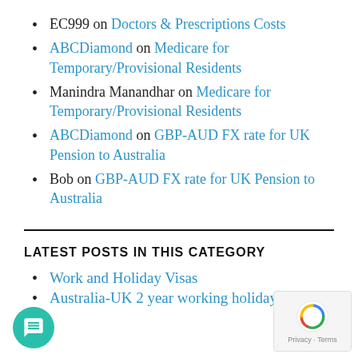EC999 on Doctors & Prescriptions Costs
ABCDiamond on Medicare for Temporary/Provisional Residents
Manindra Manandhar on Medicare for Temporary/Provisional Residents
ABCDiamond on GBP-AUD FX rate for UK Pension to Australia
Bob on GBP-AUD FX rate for UK Pension to Australia
LATEST POSTS IN THIS CATEGORY
Work and Holiday Visas
Australia-UK 2 year working holiday visa